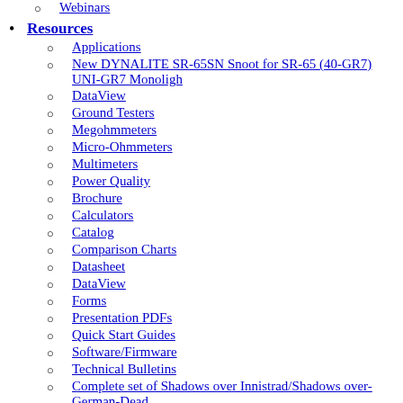Webinars
Resources
Applications
New DYNALITE SR-65SN Snoot for SR-65 (40-GR7) UNI-GR7 Monoligh
DataView
Ground Testers
Megohmmeters
Micro-Ohmmeters
Multimeters
Power Quality
Brochure
Calculators
Catalog
Comparison Charts
Datasheet
DataView
Forms
Presentation PDFs
Quick Start Guides
Software/Firmware
Technical Bulletins
Complete set of Shadows over Innistrad/Shadows over-German-Dead
User Manual
Vid…